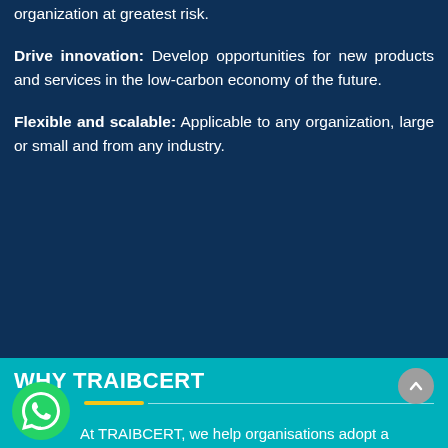organization at greatest risk.
Drive innovation: Develop opportunities for new products and services in the low-carbon economy of the future.
Flexible and scalable: Applicable to any organization, large or small and from any industry.
WHY TRAIBCERT
At TRAIBCERT, we help organisations adopt a